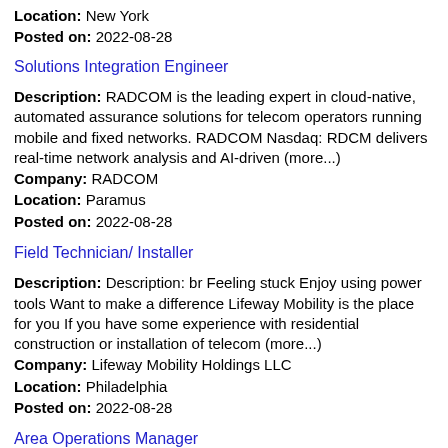Location: New York
Posted on: 2022-08-28
Solutions Integration Engineer
Description: RADCOM is the leading expert in cloud-native, automated assurance solutions for telecom operators running mobile and fixed networks. RADCOM Nasdaq: RDCM delivers real-time network analysis and AI-driven (more...)
Company: RADCOM
Location: Paramus
Posted on: 2022-08-28
Field Technician/ Installer
Description: Description: br Feeling stuck Enjoy using power tools Want to make a difference Lifeway Mobility is the place for you If you have some experience with residential construction or installation of telecom (more...)
Company: Lifeway Mobility Holdings LLC
Location: Philadelphia
Posted on: 2022-08-28
Area Operations Manager
Description: Verizon is one of the world's leading providers of technology and communications services, transforming the way we connect across the globe. We're a diverse network of people driven by our shared ambition (more...)
Company: Verizon Communications
Location: Philadelphia